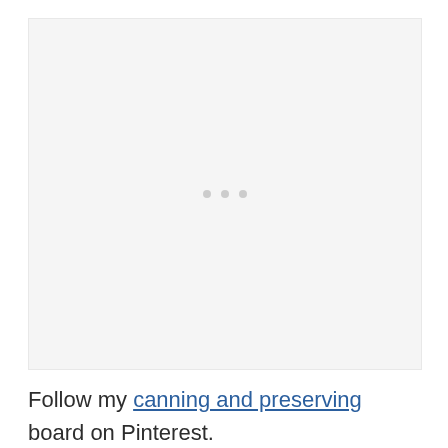[Figure (other): A light gray placeholder box with three small gray dots centered, indicating a loading or embedded Pinterest board widget.]
Follow my canning and preserving board on Pinterest.